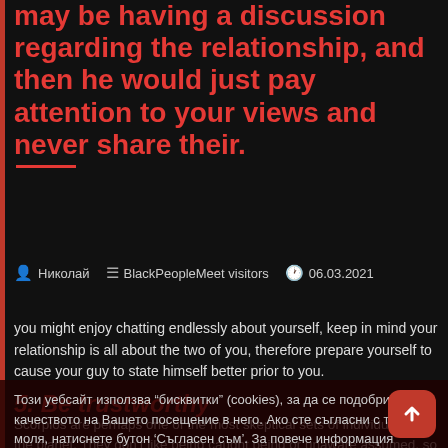may be having a discussion regarding the relationship, and then he would just pay attention to your views and never share their.
Николай  BlackPeopleMeet visitors  06.03.2021
you might enjoy chatting endlessly about yourself, keep in mind your relationship is all about the two of you, therefore prepare yourself to cause your guy to state himself better prior to you.
5. Be trustworthy
Scorpios are perhaps one of the most skeptical sets of individuals on the planet. They don't like being caught being or unaware assumed, so their TRUST is one thing you're going to possess to m...
Should your relationship with him means adequate to you, you'll...
Този уебсайт използва "бисквитки" (cookies), за да се подобри качеството на Вашето посещение в него. Ако сте съгласни с това, моля, натиснете бутон 'Съгласен съм'. За повече информация натиснете тук.